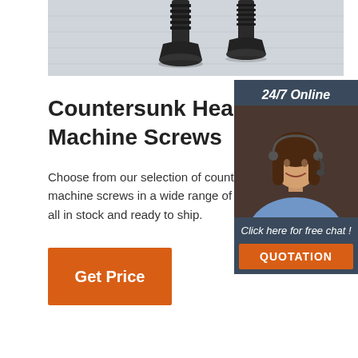[Figure (photo): Close-up photo of two dark/black countersunk machine screws on a light grey wooden surface, viewed from above]
Countersunk Head Machine Screws
Choose from our selection of countersunk head machine screws in a wide range of styles and sizes, all in stock and ready to ship.
Get Price
[Figure (infographic): 24/7 Online chat widget with a smiling female customer service agent wearing a headset, with 'Click here for free chat!' text and an orange QUOTATION button]